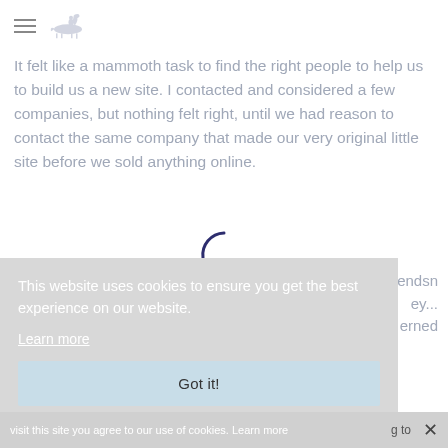[Figure (logo): Hamburger menu icon and horse/rider logo in light grey]
It felt like a mammoth task to find the right people to help us to build us a new site. I contacted and considered a few companies, but nothing felt right, until we had reason to contact the same company that made our very original little site before we sold anything online.
[Figure (infographic): Loading spinner (circular arc) in dark navy blue color]
...endsn ...ey... ...erned
This website uses cookies to ensure you get the best experience on our website.
Learn more
Got it!
g to
visit this site you agree to our use of cookies. Learn more